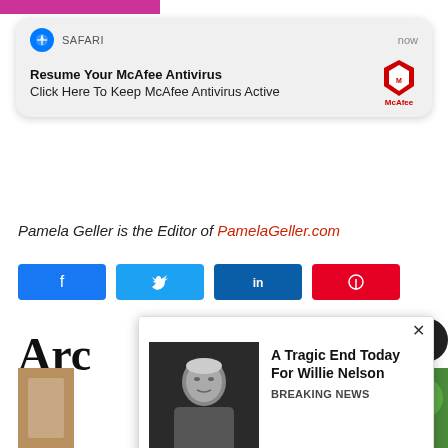[Figure (screenshot): Safari browser push notification card: 'Resume Your McAfee Antivirus / Click Here To Keep McAfee Antivirus Active' with McAfee logo, timestamped 'now']
Pamela Geller is the Editor of PamelaGeller.com
[Figure (infographic): Row of four social media share buttons: Facebook (blue), Twitter (light blue), LinkedIn (dark blue), Pinterest (red), each with icon]
Arc
[Figure (photo): Partial photo of a man at bottom left]
[Figure (screenshot): Ad popup overlay with photo of elderly man (Willie Nelson) and text: 'A Tragic End Today For Willie Nelson / Breaking News']
[Figure (photo): Partial green/nature photo at bottom right]